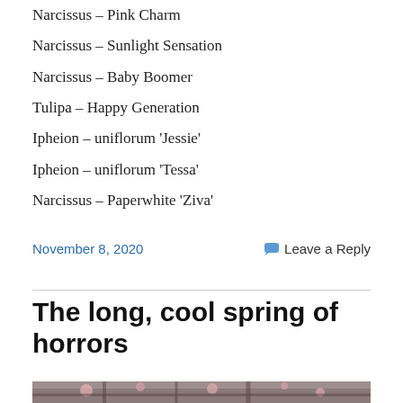Narcissus – Pink Charm
Narcissus – Sunlight Sensation
Narcissus – Baby Boomer
Tulipa – Happy Generation
Ipheion – uniflorum 'Jessie'
Ipheion – uniflorum 'Tessa'
Narcissus – Paperwhite 'Ziva'
November 8, 2020   Leave a Reply
The long, cool spring of horrors
[Figure (photo): Photo of magnolia tree branches with pink flowers against a grey sky, partially visible at the bottom of the page.]